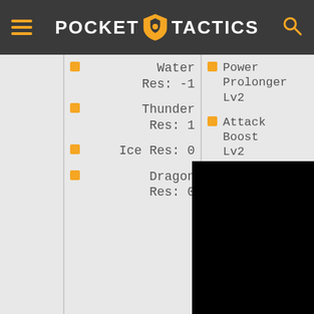Pocket Tactics
Water Res: -1
Thunder Res: 1
Ice Res: 0
Dragon Res: 0
Power Prolonger Lv2
Attack Boost Lv2
Critical Eye Lv2
[Figure (screenshot): Black ad/video overlay with close button (circled X)]